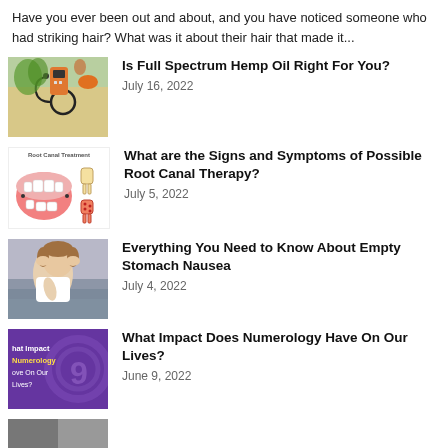Have you ever been out and about, and you have noticed someone who had striking hair? What was it about their hair that made it...
[Figure (photo): Photo of medical/health items including a glucometer, stethoscope, and vegetables]
Is Full Spectrum Hemp Oil Right For You?
July 16, 2022
[Figure (illustration): Illustration of Root Canal Treatment showing a mouth and tooth diagrams]
What are the Signs and Symptoms of Possible Root Canal Therapy?
July 5, 2022
[Figure (photo): Photo of a person holding their head/stomach in pain, lying in bed]
Everything You Need to Know About Empty Stomach Nausea
July 4, 2022
[Figure (illustration): Purple graphic with text: What Impact Does Numerology Have On Our Lives?]
What Impact Does Numerology Have On Our Lives?
June 9, 2022